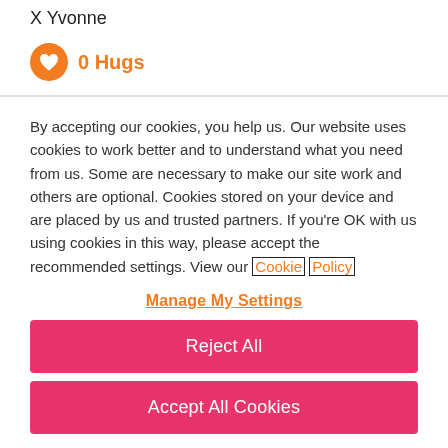X Yvonne
0 Hugs
By accepting our cookies, you help us. Our website uses cookies to work better and to understand what you need from us. Some are necessary to make our site work and others are optional. Cookies stored on your device and are placed by us and trusted partners. If you're OK with us using cookies in this way, please accept the recommended settings. View our Cookie Policy
Manage My Settings
Reject All
Accept All Cookies